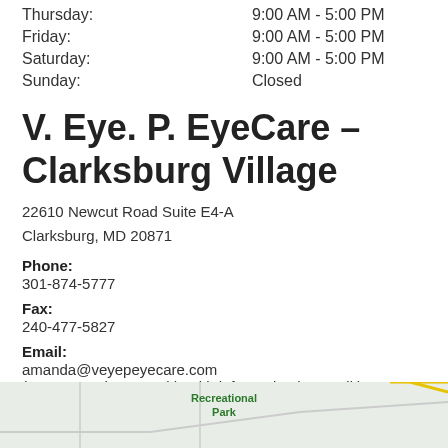Thursday: 9:00 AM - 5:00 PM
Friday: 9:00 AM - 5:00 PM
Saturday: 9:00 AM - 5:00 PM
Sunday: Closed
V. Eye. P. EyeCare – Clarksburg Village
22610 Newcut Road Suite E4-A
Clarksburg, MD 20871
Phone:
301-874-5777
Fax:
240-477-5827
Email:
amanda@veyepeyecare.com
(Do not send personal health information by email.)
[Figure (map): Partial map snippet showing road layout near Recreational Park, Clarksburg area]